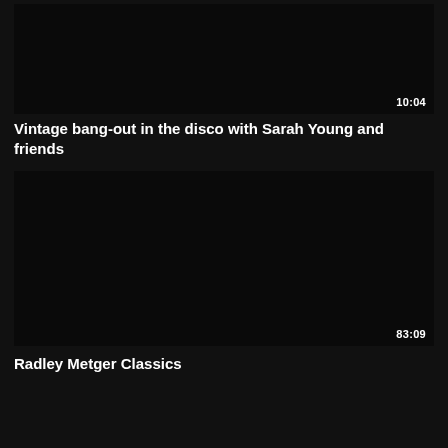[Figure (screenshot): Black video thumbnail with duration stamp 10:04 in bottom right corner]
Vintage bang-out in the disco with Sarah Young and friends
[Figure (screenshot): Black video thumbnail with duration stamp 83:09 in bottom right corner]
Radley Metger Classics